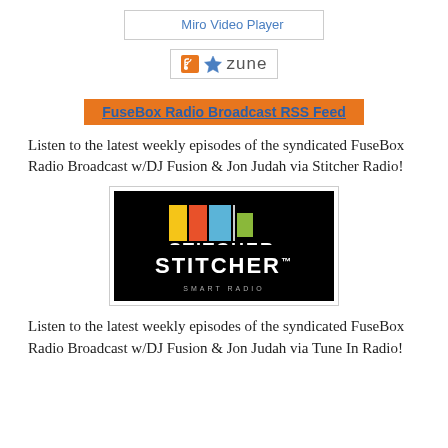[Figure (screenshot): Miro Video Player button/link with border]
[Figure (logo): Zune subscription button with RSS icon, Zune star icon, and 'zune' text]
FuseBox Radio Broadcast RSS Feed
Listen to the latest weekly episodes of the syndicated FuseBox Radio Broadcast w/DJ Fusion & Jon Judah via Stitcher Radio!
[Figure (logo): Stitcher Smart Radio logo on black background with colorful vertical bars]
Listen to the latest weekly episodes of the syndicated FuseBox Radio Broadcast w/DJ Fusion & Jon Judah via Tune In Radio!